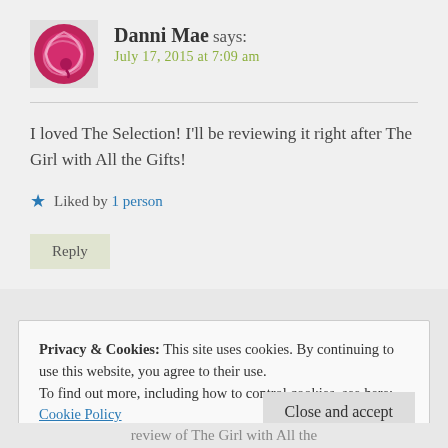[Figure (illustration): Pink/magenta yarn ball logo avatar for Danni Mae]
Danni Mae says:
July 17, 2015 at 7:09 am
I loved The Selection! I'll be reviewing it right after The Girl with All the Gifts!
★ Liked by 1 person
Reply
Privacy & Cookies: This site uses cookies. By continuing to use this website, you agree to their use.
To find out more, including how to control cookies, see here: Cookie Policy
Close and accept
review of The Girl with All the